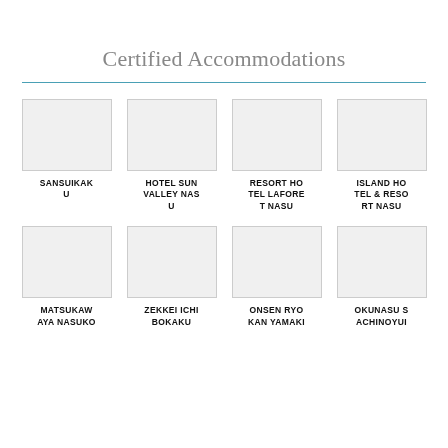Certified Accommodations
[Figure (other): Grid of accommodation thumbnails (placeholder boxes) with hotel names below. Row 1: SANSUIKAKU, HOTEL SUN VALLEY NASU, RESORT HOTEL LAFORET NASU, ISLAND HOTEL & RESORT NASU. Row 2 (partial): MATSUKAWAYA NASUKO, ZEKKEI ICHI BOKAKU, ONSEN RYOKAN YAMAKI, OKUNASU SACHINOYUI.]